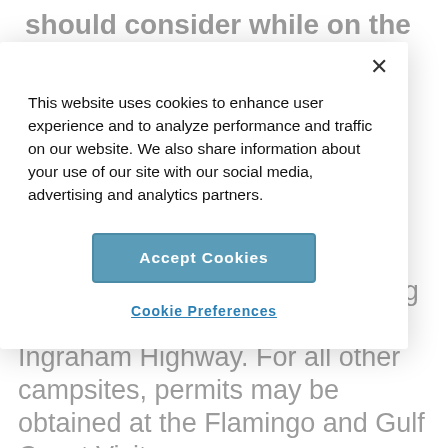should consider while on the path to discovery.
This website uses cookies to enhance user experience and to analyze performance and traffic on our website. We also share information about your use of our site with our social media, advertising and analytics partners.
Accept Cookies
Cookie Preferences
only for two land sites in the Long Pine Key area: Ernest Coe and Ingraham Highway. For all other campsites, permits may be obtained at the Flamingo and Gulf Coast Visitor